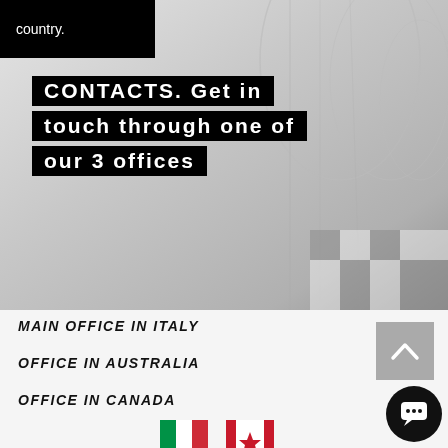country.
CONTACTS. Get in touch through one of our 3 offices
MAIN OFFICE IN ITALY
OFFICE IN AUSTRALIA
OFFICE IN CANADA
[Figure (illustration): Two flag icons: Italian flag (green and red) and Canadian flag (red)]
[Figure (illustration): Scroll-to-top button with upward chevron on gray background]
[Figure (illustration): Chat bubble button, circular black button with speech bubble icon]